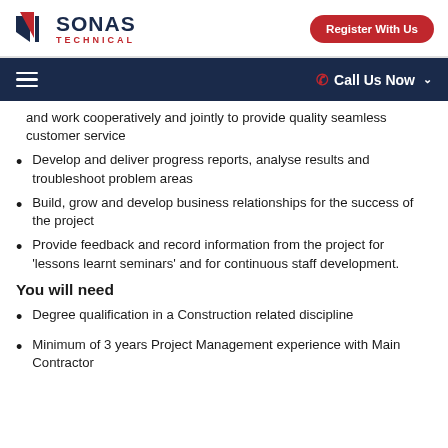SONAS TECHNICAL | Register With Us
☰  Call Us Now ⌄
and work cooperatively and jointly to provide quality seamless customer service
Develop and deliver progress reports, analyse results and troubleshoot problem areas
Build, grow and develop business relationships for the success of the project
Provide feedback and record information from the project for 'lessons learnt seminars' and for continuous staff development.
You will need
Degree qualification in a Construction related discipline
Minimum of 3 years Project Management experience with Main Contractor